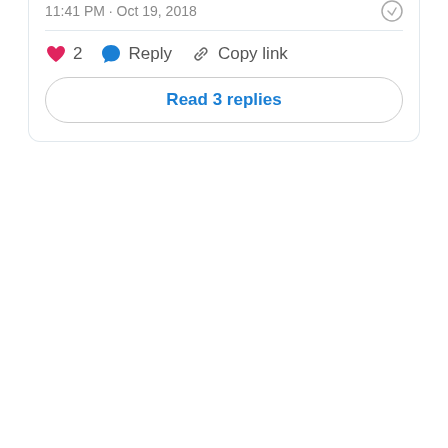11:41 PM · Oct 19, 2018
♥ 2  Reply  Copy link
Read 3 replies